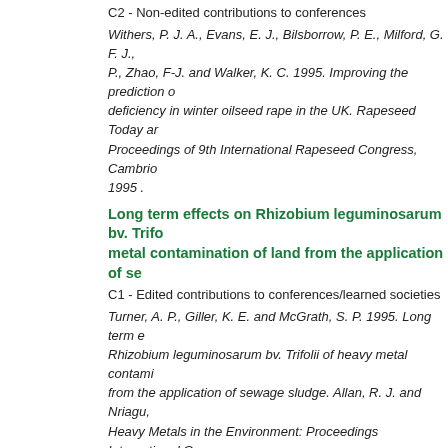C2 - Non-edited contributions to conferences
Withers, P. J. A., Evans, E. J., Bilsborrow, P. E., Milford, G. F. J., P., Zhao, F-J. and Walker, K. C. 1995. Improving the prediction of deficiency in winter oilseed rape in the UK. Rapeseed Today and Proceedings of 9th International Rapeseed Congress, Cambridge, 1995 .
Long term effects on Rhizobium leguminosarum bv. Trifolii metal contamination of land from the application of sewage sludge
C1 - Edited contributions to conferences/learned societies
Turner, A. P., Giller, K. E. and McGrath, S. P. 1995. Long term effects on Rhizobium leguminosarum bv. Trifolii of heavy metal contamination from the application of sewage sludge. Allan, R. J. and Nriagu, J. O. Heavy Metals in the Environment: Proceedings International Conference, Toronto, September 1993 . CEP Consultants Ltd, Edinburgh. pp
Assessing the risk of sulphur deficiency in oilseed rape
C1 - Edited contributions to conferences/learned societies
McGrath, S. P. and Zhao, F-J. 1995. Assessing the risk of sulphur deficiency in oilseed rape. Rapeseed Today and Tomorrow: Proceedings 9